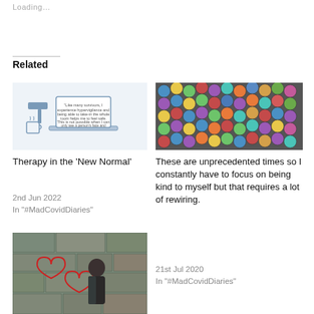Loading…
Related
[Figure (illustration): Illustration of a laptop with a speech bubble/quote text, with a hammer and mug icon around it. Represents therapy in a virtual/online setting.]
Therapy in the 'New Normal'
2nd Jun 2022
In "#MadCovidDiaries"
[Figure (photo): Photo of multiple colored pencils viewed from the tip end, showing a variety of colors including blue, yellow, green, red, and purple.]
These are unprecedented times so I constantly have to focus on being kind to myself but that requires a lot of rewiring.
21st Jul 2020
In "#MadCovidDiaries"
[Figure (photo): Photo of a person with red hair standing against a stone wall with two red heart outlines drawn/painted on the wall.]